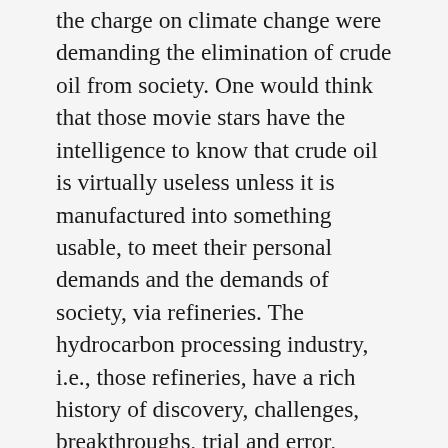the charge on climate change were demanding the elimination of crude oil from society. One would think that those movie stars have the intelligence to know that crude oil is virtually useless unless it is manufactured into something usable, to meet their personal demands and the demands of society, via refineries. The hydrocarbon processing industry, i.e., those refineries, have a rich history of discovery, challenges, breakthroughs, trial and error, collaboration, and success.
Looking back a little more than 100 years, it's easy to see how civilization has benefited from more than 250 leading-edge, hydrocarbon processing licensed refining technologies used by the more than 700 refineries worldwide that supply oil products to meet the demands of the 8 billion living on earth with more than 6,000 products made from